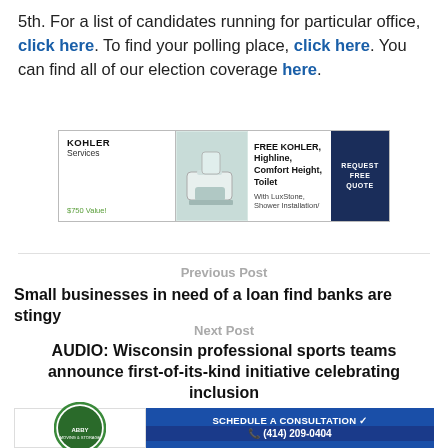5th. For a list of candidates running for particular office, click here. To find your polling place, click here. You can find all of our election coverage here.
[Figure (other): Kohler Services advertisement banner: FREE KOHLER, Highline, Comfort Height, Toilet with LuxStone Shower Installation. $750 Value. REQUEST FREE QUOTE button.]
Previous Post
Small businesses in need of a loan find banks are stingy
Next Post
AUDIO: Wisconsin professional sports teams announce first-of-its-kind initiative celebrating inclusion
[Figure (other): Bottom advertisement banner: Abby logo on left, SCHEDULE A CONSULTATION and phone number (414) 209-0404 on right]